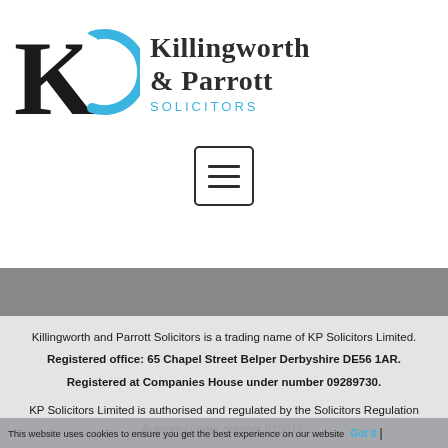[Figure (logo): Killingworth & Parrott Solicitors logo with KP monogram in black and blue and serif text]
[Figure (other): Hamburger menu icon — three horizontal lines in a rounded rectangle border]
Killingworth and Parrott Solicitors is a trading name of KP Solicitors Limited.
Registered office: 65 Chapel Street Belper Derbyshire DE56 1AR.
Registered at Companies House under number 09289730.
KP Solicitors Limited is authorised and regulated by the Solicitors Regulation Authority under number 619013.
This website uses cookies to ensure you get the best experience on our website  Got it  |